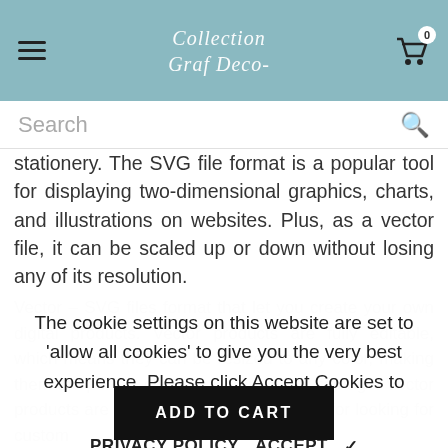Collection Graf Deco- (logo)
Search
stationery. The SVG file format is a popular tool for displaying two-dimensional graphics, charts, and illustrations on websites. Plus, as a vector file, it can be scaled up or down without losing any of its resolution.
The cookie settings on this website are set to 'allow all cookies' to give you the very best experience. Please click Accept Cookies to continue to use the site.
Vector – SVG files format that let you create your own digital products. Vector products are fully editable, which means they can be resized to any color, making them the perfect choice for branding or signage. Vector products are also an excellent alternative for looking for custom
PRIVACY POLICY  ACCEPT  ✔
ADD TO CART